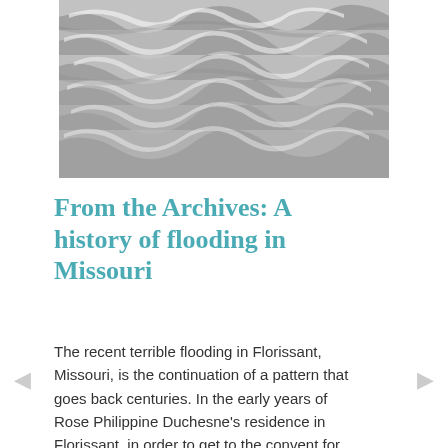[Figure (photo): Black and white photograph of turbulent rushing flood water with churning waves and foam]
From the Archives: A history of flooding in Missouri
The recent terrible flooding in Florissant, Missouri, is the continuation of a pattern that goes back centuries. In the early years of Rose Philippine Duchesne's residence in Florissant, in order to get to the convent for Mass, the priest had to travel some distance